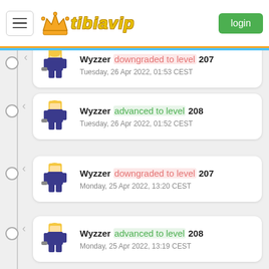tibiavip — login
Wyzzer downgraded to level 207 — Tuesday, 26 Apr 2022, 01:53 CEST
Wyzzer advanced to level 208 — Tuesday, 26 Apr 2022, 01:52 CEST
Wyzzer downgraded to level 207 — Monday, 25 Apr 2022, 13:20 CEST
Wyzzer advanced to level 208 — Monday, 25 Apr 2022, 13:19 CEST
Wyzzer downgraded to level 207 — Monday, 25 Apr 2022, 13:16 CEST